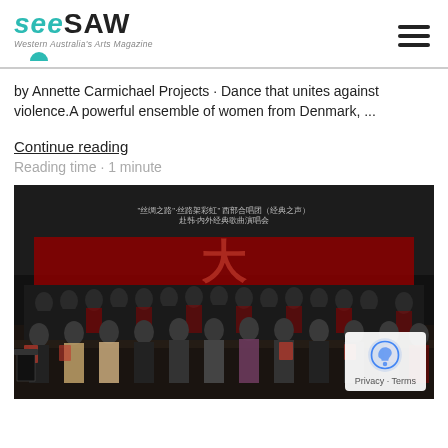seesaw - Western Australia's Arts Magazine
by Annette Carmichael Projects · Dance that unites against violence.A powerful ensemble of women from Denmark, ...
Continue reading
Reading time · 1 minute
[Figure (photo): A large choir group on stage, wearing red and black, standing in front of a banner with Chinese text. Some performers are in formal attire in the front row.]